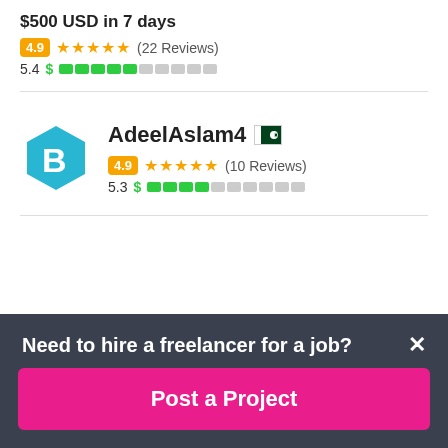$500 USD in 7 days
4.9 ★★★★★ (22 Reviews)
5.4 $ ████▌░░░░░
[Figure (logo): Blue hexagon logo with white letter B inside, for user AdeelAslam4]
AdeelAslam4 🇵🇰
4.9 ★★★★★ (10 Reviews)
5.3 $ ████░░░░░░
Need to hire a freelancer for a job?
Post a Project